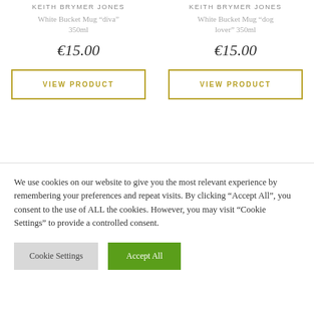KEITH BRYMER JONES
White Bucket Mug “diva” 350ml
€15.00
VIEW PRODUCT
KEITH BRYMER JONES
White Bucket Mug “dog lover” 350ml
€15.00
VIEW PRODUCT
We use cookies on our website to give you the most relevant experience by remembering your preferences and repeat visits. By clicking “Accept All”, you consent to the use of ALL the cookies. However, you may visit "Cookie Settings" to provide a controlled consent.
Cookie Settings
Accept All